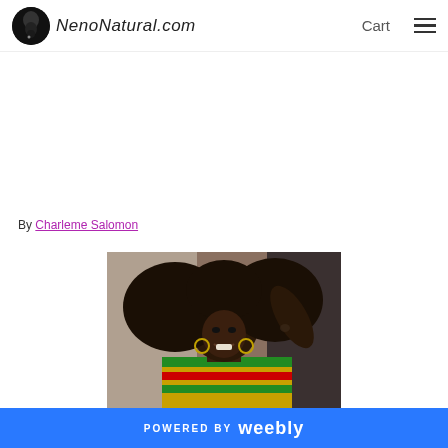NenoNatural.com | Cart
By Charleme Salomon
[Figure (photo): Woman with large natural afro hair, smiling, wearing colorful kente print clothing, hoop earrings, with arm raised behind head]
POWERED BY weebly